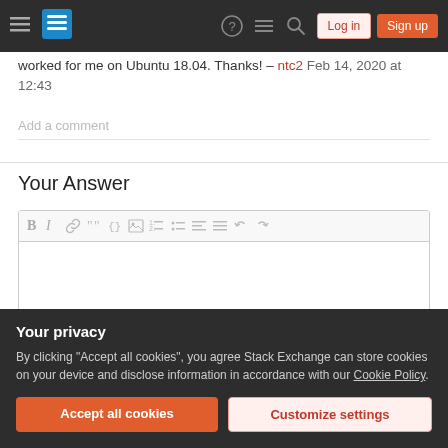Stack Exchange navigation bar with Log in and Sign up buttons
worked for me on Ubuntu 18.04. Thanks! – ntc2 Feb 14, 2020 at 12:43
Add a comment
Your Answer
[Figure (screenshot): Rich text editor toolbar with Bold, Italic, Link, Quote, Code, Image, Ordered list, Unordered list, Align left, Align justify, Undo, Redo buttons]
Your privacy
By clicking "Accept all cookies", you agree Stack Exchange can store cookies on your device and disclose information in accordance with our Cookie Policy.
Accept all cookies
Customize settings